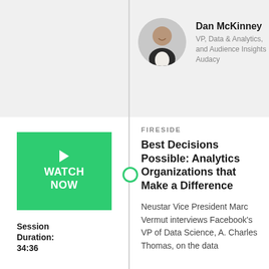[Figure (photo): Circular headshot photo of Dan McKinney, a man in a dark blazer smiling]
Dan McKinney
VP, Data & Analytics,
and Audience Insights
Audacy
[Figure (other): Green Watch Now button with play triangle icon]
FIRESIDE
Best Decisions Possible: Analytics Organizations that Make a Difference
Neustar Vice President Marc Vermut interviews Facebook's VP of Data Science, A. Charles Thomas, on the data
Session
Duration:
34:36